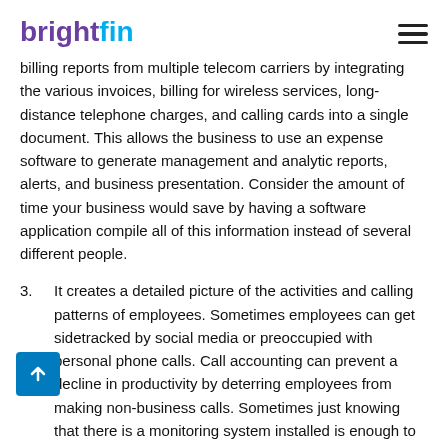brightfin
billing reports from multiple telecom carriers by integrating the various invoices, billing for wireless services, long-distance telephone charges, and calling cards into a single document. This allows the business to use an expense software to generate management and analytic reports, alerts, and business presentation. Consider the amount of time your business would save by having a software application compile all of this information instead of several different people.
3. It creates a detailed picture of the activities and calling patterns of employees. Sometimes employees can get sidetracked by social media or preoccupied with personal phone calls. Call accounting can prevent a decline in productivity by deterring employees from making non-business calls. Sometimes just knowing that there is a monitoring system installed is enough to